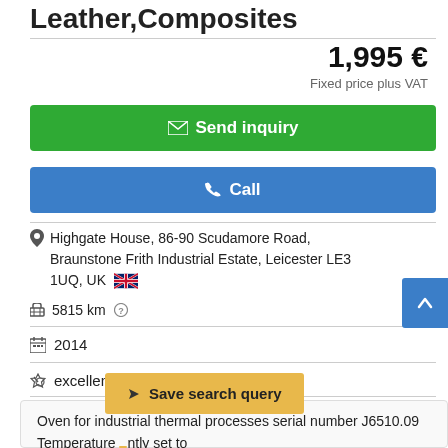Leather,Composites
1,995 €
Fixed price plus VAT
✉ Send inquiry
📞 Call
Highgate House, 86-90 Scudamore Road, Braunstone Frith Industrial Estate, Leicester LE3 1UQ, UK
5815 km
2014
excellent (used)
Oven for industrial thermal processes serial number J6510.09... Temperature ... ntly set to to maximum of 105 degrees C. Max temperature
Save search query